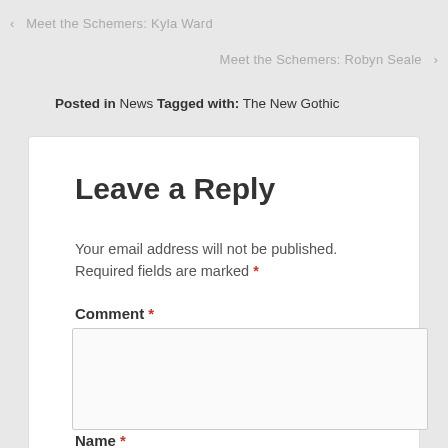‹  Meet the Schemers: Kyla Ward
Meet the Schemers: Robyn Seale  ›
Posted in News Tagged with: The New Gothic
Leave a Reply
Your email address will not be published. Required fields are marked *
Comment *
Name *